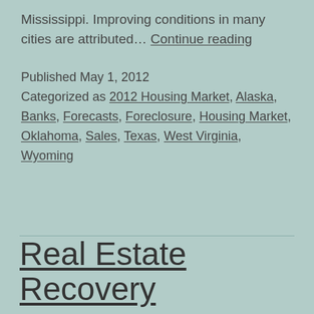Mississippi. Improving conditions in many cities are attributed… Continue reading
Published May 1, 2012
Categorized as 2012 Housing Market, Alaska, Banks, Forecasts, Foreclosure, Housing Market, Oklahoma, Sales, Texas, West Virginia, Wyoming
Real Estate Recovery